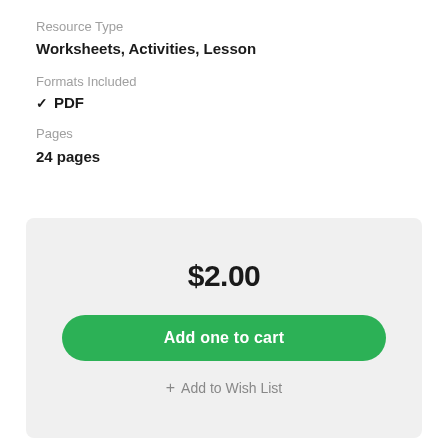Resource Type
Worksheets, Activities, Lesson
Formats Included
✓ PDF
Pages
24 pages
$2.00
Add one to cart
+ Add to Wish List